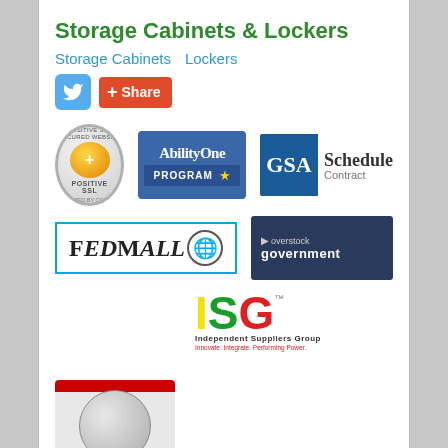Storage Cabinets & Lockers
Storage Cabinets   Lockers
[Figure (logo): Twitter share button and +Share button]
[Figure (logo): Positive SSL security badge (circular seal), AbilityOne Program badge (blue), GSA Schedule Contract badge]
[Figure (logo): FedMall logo (bordered), Overstock Government logo (dark blue)]
[Figure (logo): ISG - Independent Suppliers Group logo (colored letters I, S, G)]
[Figure (logo): Partial logo with red top bar and globe graphic]